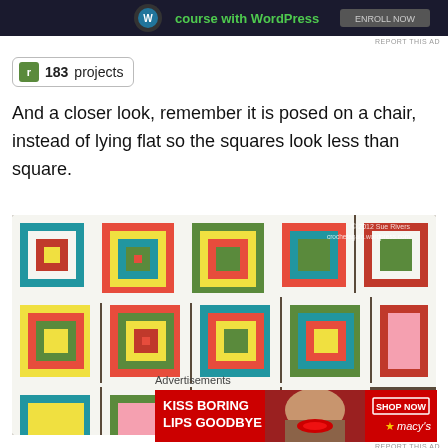[Figure (screenshot): Top advertisement banner with dark background showing 'course with WordPress' text in green]
REPORT THIS AD
[Figure (logo): Ravelry badge showing 'r 183 projects']
And a closer look, remember it is posed on a chair, instead of lying flat so the squares look less than square.
[Figure (photo): Close-up photo of a colorful crochet granny square blanket with red, green, blue, yellow, pink and white squares. Watermark reads '© 2012 Sue Rivers crochetagain.wordpress.com']
Advertisements
[Figure (screenshot): Macy's advertisement banner with red background. Left side reads 'KISS BORING LIPS GOODBYE' in white bold text. Right side has 'SHOP NOW' button and Macy's star logo in white.]
REPORT THIS AD